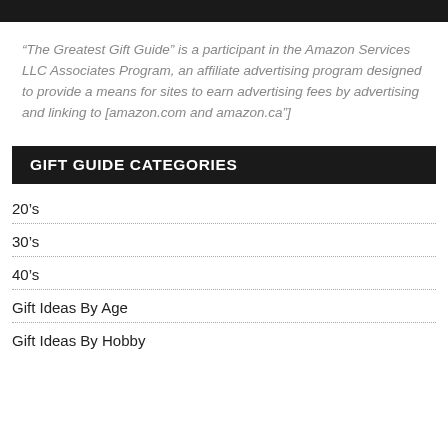“The Greatest Gift Guide” is a participant in the Amazon Services LLC Associates Program, an affiliate advertising program designed to provide a means for sites to earn advertising fees by advertising and linking to [amazon.com and amazon.ca”]
GIFT GUIDE CATEGORIES
20’s
30’s
40’s
Gift Ideas By Age
Gift Ideas By Hobby